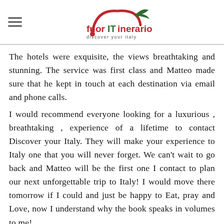[Figure (logo): FuorITinerario logo with red arch, green bird, and red/dark green text reading 'fuorITinerario discover your Italy'. Hamburger menu icon on the left.]
The hotels were exquisite, the views breathtaking and stunning. The service was first class and Matteo made sure that he kept in touch at each destination via email and phone calls.
I would recommend everyone looking for a luxurious , breathtaking , experience of a lifetime to contact Discover your Italy. They will make your experience to Italy one that you will never forget. We can't wait to go back and Matteo will be the first one I contact to plan our next unforgettable trip to Italy! I would move there tomorrow if I could and just be happy to Eat, pray and Love, now I understand why the book speaks in volumes to me!